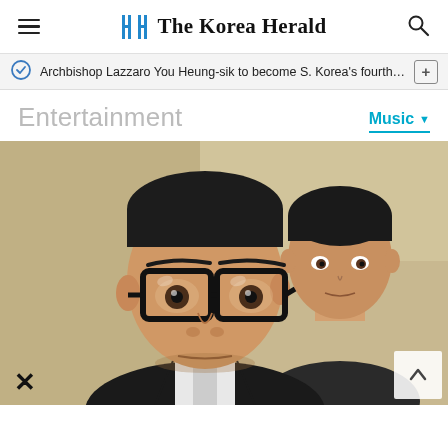The Korea Herald
Archbishop Lazzaro You Heung-sik to become S. Korea's fourth c...
Entertainment
Music
[Figure (photo): A young Asian man wearing black-rimmed glasses in a dark suit, photographed in close-up. A second man is visible behind him.]